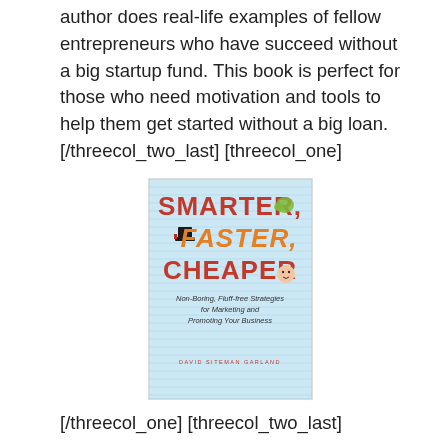author does real-life examples of fellow entrepreneurs who have succeed without a big startup fund. This book is perfect for those who need motivation and tools to help them get started without a big loan. [/threecol_two_last] [threecol_one]
[Figure (photo): Book cover of 'Smarter, Faster, Cheaper: Non-Boring, Fluff-free Strategies for Marketing and Promoting Your Business' by David Siteman Garland]
[/threecol_one] [threecol_two_last]
3. Smarter, Faster, Cheaper by David